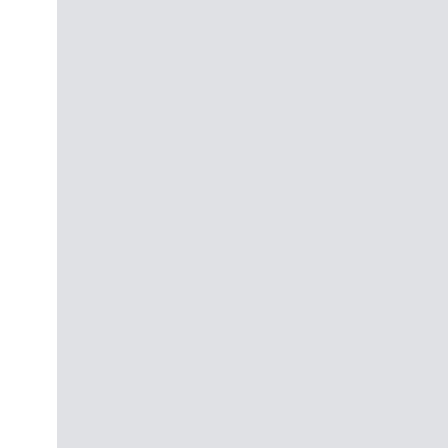being the dominant colour supported by white and light blue.  As the Wolf Clan closed on their targets Elementals launched themselves from the OmniMechs into the air and like swirling snowflakes of a blizzard slammed into the Isle of Skye Mechs immediately tearing open the Lyran Mechs.
Within an hour the First Isle of Skye Guards BattleMech regiment had been reduced to less than a battalion of active Mechs.  Leaving the armor and infantry to fight in a rearguard action falling back to their DropShips high above the Silver Blizzard's aerospace units tore the Isle of Skye fighters from the air quickly gaining superiority.  Three hours after the Isle of Skye Regimental Combat Teams had arrived on the planet two companies of Mechs, five armou